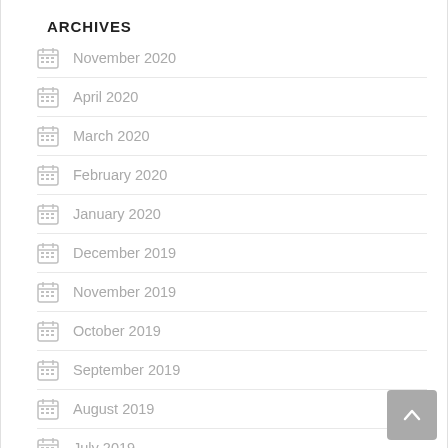ARCHIVES
November 2020
April 2020
March 2020
February 2020
January 2020
December 2019
November 2019
October 2019
September 2019
August 2019
July 2019